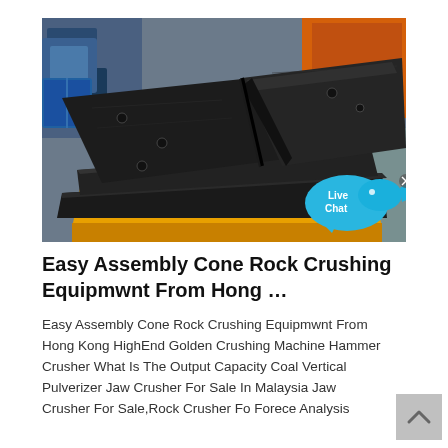[Figure (photo): Industrial black metal crusher plates/jaws stacked on yellow frame in a manufacturing facility, with blue storage bins visible in the background]
Easy Assembly Cone Rock Crushing Equipmwnt From Hong …
Easy Assembly Cone Rock Crushing Equipmwnt From Hong Kong HighEnd Golden Crushing Machine Hammer Crusher What Is The Output Capacity Coal Vertical Pulverizer Jaw Crusher For Sale In Malaysia Jaw Crusher For Sale,Rock Crusher Fo Forece Analysis